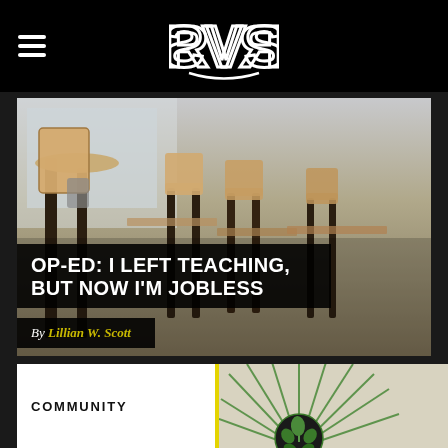RVS (logo)
[Figure (photo): Empty classroom with wooden chairs and desks, blurred background, natural light from windows]
OP-ED: I LEFT TEACHING, BUT NOW I'M JOBLESS
By Lillian W. Scott
COMMUNITY
[Figure (illustration): Cannabis-themed illustration with green radiating lines and a cannabis leaf emblem on a light textured background]